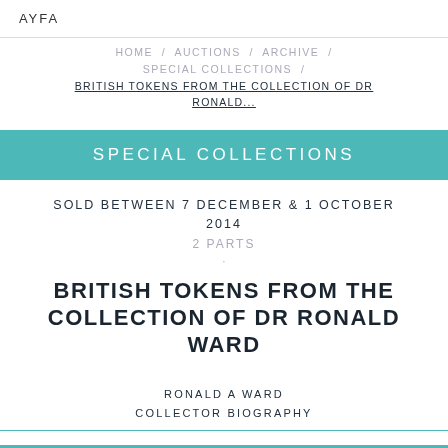AYFAI (logo partial)
HOME / AUCTIONS / ARCHIVE / SPECIAL COLLECTIONS / BRITISH TOKENS FROM THE COLLECTION OF DR RONALD...
SPECIAL COLLECTIONS
SOLD BETWEEN 7 DECEMBER & 1 OCTOBER 2014
2 PARTS
BRITISH TOKENS FROM THE COLLECTION OF DR RONALD WARD
RONALD A WARD
COLLECTOR BIOGRAPHY